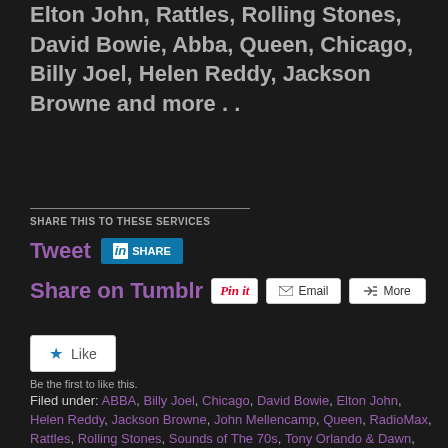Elton John, Rattles, Rolling Stones, David Bowie, Abba, Queen, Chicago, Billy Joel, Helen Reddy, Jackson Browne and more . .
SHARE THIS TO THESE SERVICES
Tweet
Share on Tumblr
Like
Be the first to like this.
Filed under: ABBA, Billy Joel, Chicago, David Bowie, Elton John, Helen Reddy, Jackson Browne, John Mellencamp, Queen, RadioMax, Rattles, Rolling Stones, Sounds of The 70s, Tony Orlando & Dawn, Wet Willie, Yes